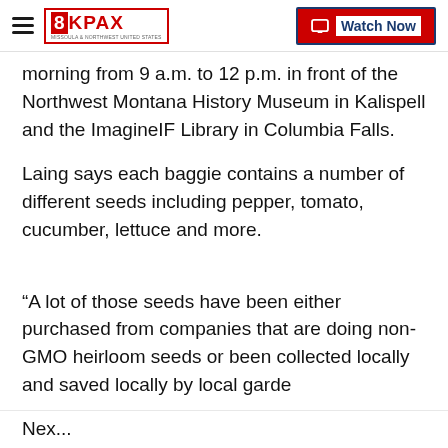8KPAX | Watch Now
morning from 9 a.m. to 12 p.m. in front of the Northwest Montana History Museum in Kalispell and the ImagineIF Library in Columbia Falls.
Laing says each baggie contains a number of different seeds including pepper, tomato, cucumber, lettuce and more.
“A lot of those seeds have been either purchased from companies that are doing non-GMO heirloom seeds or been collected locally and saved locally by local garde
Nex...